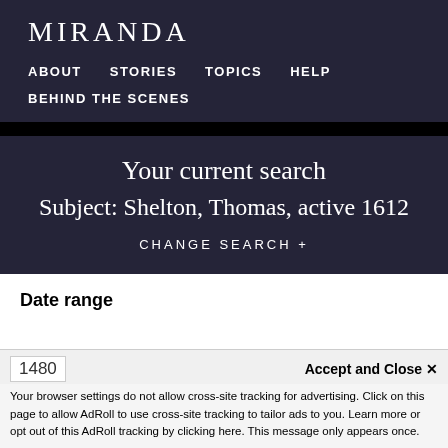MIRANDA
ABOUT   STORIES   TOPICS   HELP   BEHIND THE SCENES
Your current search
Subject: Shelton, Thomas, active 1612
CHANGE SEARCH +
Date range
1480
Accept and Close ✕
Your browser settings do not allow cross-site tracking for advertising. Click on this page to allow AdRoll to use cross-site tracking to tailor ads to you. Learn more or opt out of this AdRoll tracking by clicking here. This message only appears once.